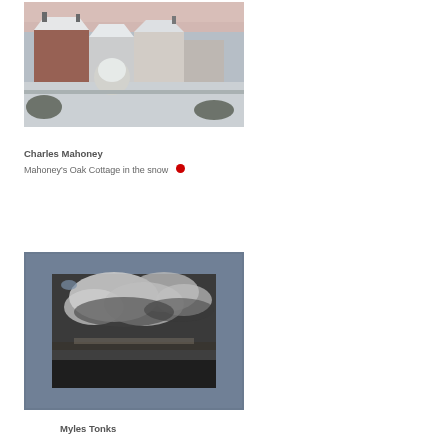[Figure (photo): Painting of snow-covered rooftops and houses in a village, with red-brick buildings and white snow, impressionistic style]
Charles Mahoney
Mahoney's Oak Cottage in the snow
[Figure (photo): Artwork in a blue frame showing a dramatic cloudy sky over a flat landscape, dark and moody, possibly a print or drawing]
Myles Tonks